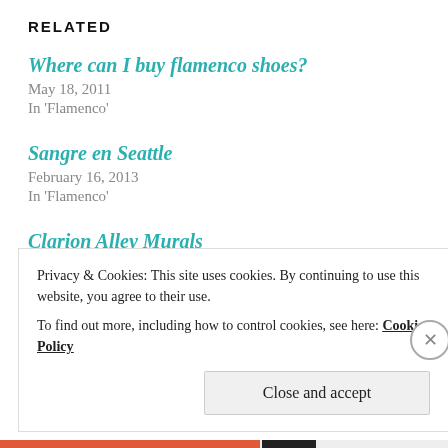RELATED
Where can I buy flamenco shoes?
May 18, 2011
In 'Flamenco'
Sangre en Seattle
February 16, 2013
In 'Flamenco'
Clarion Alley Murals
December 1, 2011
In 'Photography'
Privacy & Cookies: This site uses cookies. By continuing to use this website, you agree to their use.
To find out more, including how to control cookies, see here: Cookie Policy
Close and accept